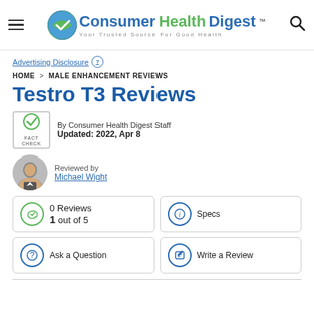Consumer Health Digest — Your Trusted Source For Good Health
Advertising Disclosure ?
HOME > MALE ENHANCEMENT REVIEWS
Testro T3 Reviews
By Consumer Health Digest Staff
Updated: 2022, Apr 8
Reviewed by
Michael Wight
0 Reviews
1 out of 5
Specs
Ask a Question
Write a Review